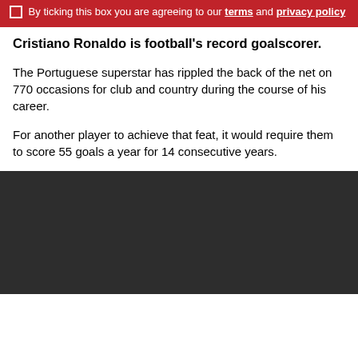By ticking this box you are agreeing to our terms and privacy policy
Cristiano Ronaldo is football's record goalscorer.
The Portuguese superstar has rippled the back of the net on 770 occasions for club and country during the course of his career.
For another player to achieve that feat, it would require them to score 55 goals a year for 14 consecutive years.
[Figure (photo): Dark/black image area, partially visible at bottom of page]